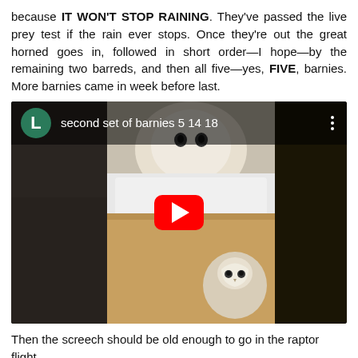because IT WON'T STOP RAINING. They've passed the live prey test if the rain ever stops. Once they're out the great horned goes in, followed in short order—I hope—by the remaining two barreds, and then all five—yes, FIVE, barnies. More barnies came in week before last.
[Figure (screenshot): YouTube video thumbnail showing barn owl chicks in a cardboard box. Video title: 'second set of barnies 5 14 18'. Dark background with play button overlay, avatar circle with letter L.]
Then the screech should be old enough to go in the raptor flight.